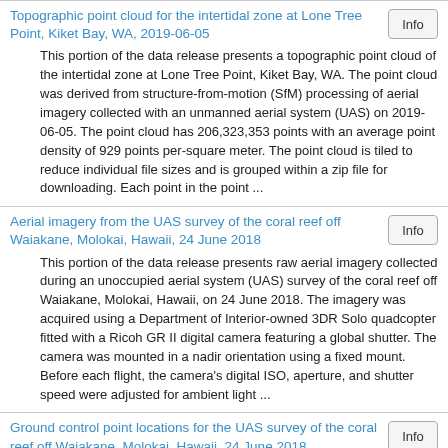Topographic point cloud for the intertidal zone at Lone Tree Point, Kiket Bay, WA, 2019-06-05
This portion of the data release presents a topographic point cloud of the intertidal zone at Lone Tree Point, Kiket Bay, WA. The point cloud was derived from structure-from-motion (SfM) processing of aerial imagery collected with an unmanned aerial system (UAS) on 2019-06-05. The point cloud has 206,323,353 points with an average point density of 929 points per-square meter. The point cloud is tiled to reduce individual file sizes and is grouped within a zip file for downloading. Each point in the point ...
Aerial imagery from the UAS survey of the coral reef off Waiakane, Molokai, Hawaii, 24 June 2018
This portion of the data release presents raw aerial imagery collected during an unoccupied aerial system (UAS) survey of the coral reef off Waiakane, Molokai, Hawaii, on 24 June 2018. The imagery was acquired using a Department of Interior-owned 3DR Solo quadcopter fitted with a Ricoh GR II digital camera featuring a global shutter. The camera was mounted in a nadir orientation using a fixed mount. Before each flight, the camera’s digital ISO, aperture, and shutter speed were adjusted for ambient light ...
Ground control point locations for the UAS survey of the coral reef off Waiakane, Molokai, Hawaii, 24 June 2018